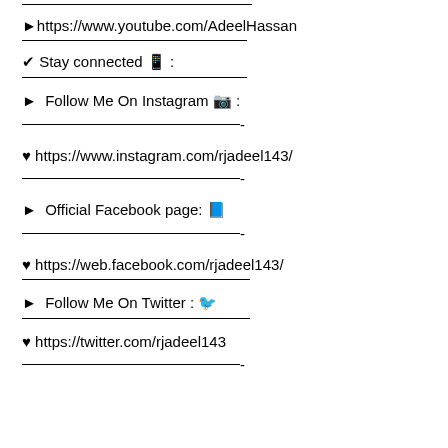►https://www.youtube.com/AdeelHassan
✔ Stay connected 📱 :
► Follow Me On Instagram 📷 :
♥ https://www.instagram.com/rjadeel143/
► Official Facebook page: 📘
♥ https://web.facebook.com/rjadeel143/
► Follow Me On Twitter : 🐦
♥ https://twitter.com/rjadeel143